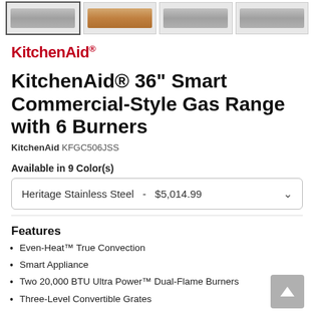[Figure (screenshot): Thumbnail strip with 4 product images of the KitchenAid gas range. The first thumbnail is selected (has a border). Images show stainless steel appliance from various angles.]
KitchenAid®
KitchenAid® 36" Smart Commercial-Style Gas Range with 6 Burners
KitchenAid KFGC506JSS
Available in 9 Color(s)
Heritage Stainless Steel  -  $5,014.99
Features
Even-Heat™ True Convection
Smart Appliance
Two 20,000 BTU Ultra Power™ Dual-Flame Burners
Three-Level Convertible Grates